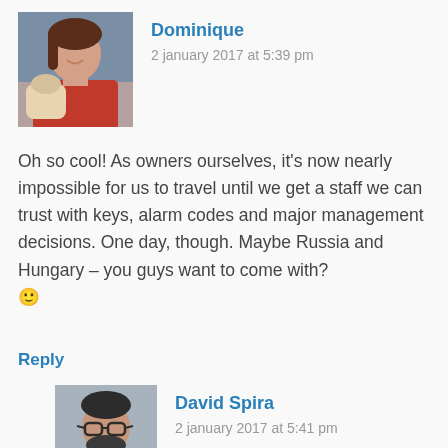[Figure (photo): Avatar photo of Dominique: woman with dark hair holding a small dog, wearing red top]
Dominique
2 january 2017 at 5:39 pm
Oh so cool! As owners ourselves, it's now nearly impossible for us to travel until we get a staff we can trust with keys, alarm codes and major management decisions. One day, though. Maybe Russia and Hungary – you guys want to come with? 🙂
Reply
[Figure (photo): Avatar photo of David Spira: man with glasses and dark beard, wearing dark jacket]
David Spira
2 january 2017 at 5:41 pm